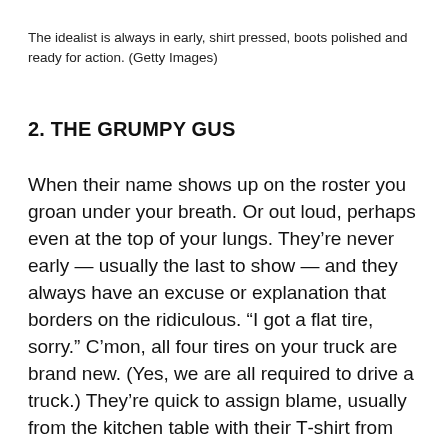The idealist is always in early, shirt pressed, boots polished and ready for action. (Getty Images)
2. THE GRUMPY GUS
When their name shows up on the roster you groan under your breath. Or out loud, perhaps even at the top of your lungs. They’re never early — usually the last to show — and they always have an excuse or explanation that borders on the ridiculous. “I got a flat tire, sorry.” C’mon, all four tires on your truck are brand new. (Yes, we are all required to drive a truck.) They’re quick to assign blame, usually from the kitchen table with their T-shirt from another department untucked. Gus is a downer, for sure, and no number of idealists will ever